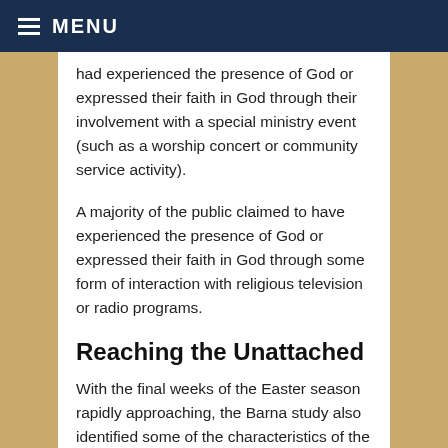MENU
had experienced the presence of God or expressed their faith in God through their involvement with a special ministry event (such as a worship concert or community service activity).
A majority of the public claimed to have experienced the presence of God or expressed their faith in God through some form of interaction with religious television or radio programs.
Reaching the Unattached
With the final weeks of the Easter season rapidly approaching, the Barna study also identified some of the characteristics of the Unattached that might enable conventional churches or other